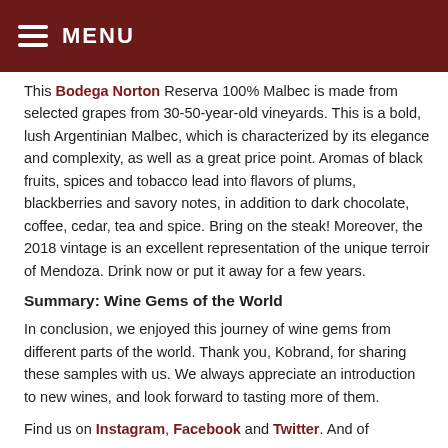MENU
This Bodega Norton Reserva 100% Malbec is made from selected grapes from 30-50-year-old vineyards. This is a bold, lush Argentinian Malbec, which is characterized by its elegance and complexity, as well as a great price point. Aromas of black fruits, spices and tobacco lead into flavors of plums, blackberries and savory notes, in addition to dark chocolate, coffee, cedar, tea and spice. Bring on the steak! Moreover, the 2018 vintage is an excellent representation of the unique terroir of Mendoza. Drink now or put it away for a few years.
Summary: Wine Gems of the World
In conclusion, we enjoyed this journey of wine gems from different parts of the world. Thank you, Kobrand, for sharing these samples with us. We always appreciate an introduction to new wines, and look forward to tasting more of them.
Find us on Instagram, Facebook and Twitter. And of